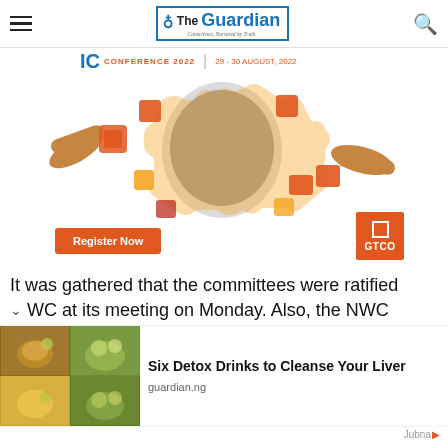The Guardian
[Figure (photo): Advertisement banner for GTCO Conference 2022 featuring a child's face surrounded by colorful puzzle pieces and hands assembling the puzzle. Contains 'Register Now' button and GTCO logo.]
It was gathered that the committees were ratified WC at its meeting on Monday. Also, the NWC
[Figure (photo): Grid of four images showing herbal/detox drinks including teas with lemon and herbs.]
Six Detox Drinks to Cleanse Your Liver
guardian.ng
Jubna